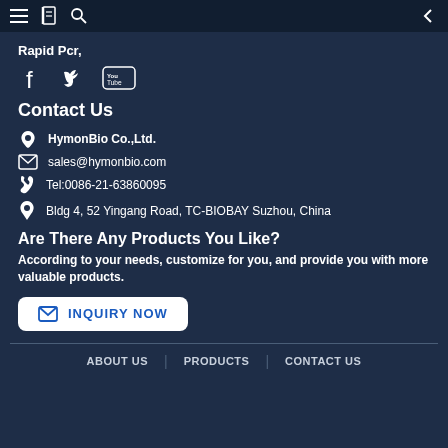Rapid Pcr,
Rapid Pcr,
Contact Us
HymonBio Co.,Ltd.
sales@hymonbio.com
Tel:0086-21-63860095
Bldg 4, 52 Yingang Road, TC-BIOBAY Suzhou, China
Are There Any Products You Like?
According to your needs, customize for you, and provide you with more valuable products.
INQUIRY NOW
ABOUT US | PRODUCTS | CONTACT US